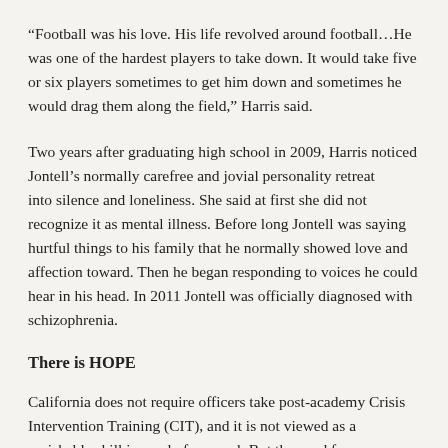“Football was his love. His life revolved around football…He was one of the hardest players to take down. It would take five or six players sometimes to get him down and sometimes he would drag them along the field,” Harris said.
Two years after graduating high school in 2009, Harris noticed Jontell’s normally carefree and jovial personality retreat into silence and loneliness. She said at first she did not recognize it as mental illness. Before long Jontell was saying hurtful things to his family that he normally showed love and affection toward. Then he began responding to voices he could hear in his head. In 2011 Jontell was officially diagnosed with schizophrenia.
There is HOPE
California does not require officers take post-academy Crisis Intervention Training (CIT), and it is not viewed as a perishable skill in need of renewal. But the need for more